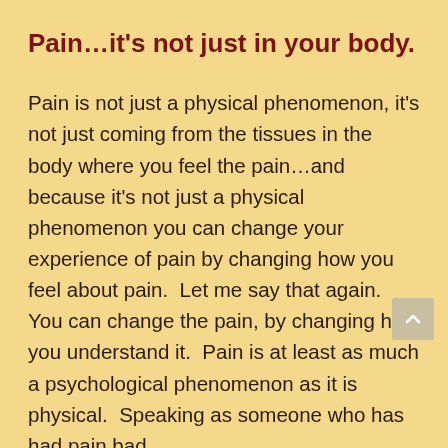Pain…it's not just in your body.
Pain is not just a physical phenomenon, it's not just coming from the tissues in the body where you feel the pain…and because it's not just a physical phenomenon you can change your experience of pain by changing how you feel about pain.  Let me say that again.  You can change the pain, by changing how you understand it.  Pain is at least as much a psychological phenomenon as it is physical.  Speaking as someone who has had pain bad